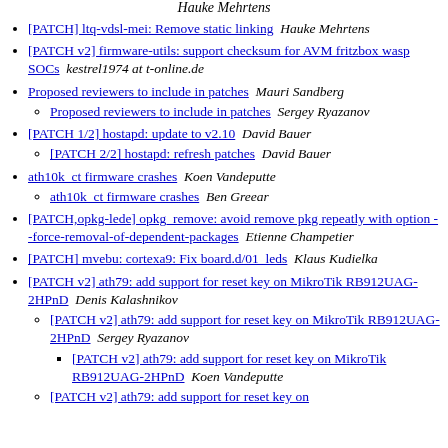Hauke Mehrtens
[PATCH] ltq-vdsl-mei: Remove static linking  Hauke Mehrtens
[PATCH v2] firmware-utils: support checksum for AVM fritzbox wasp SOCs  kestrel1974 at t-online.de
Proposed reviewers to include in patches  Mauri Sandberg
Proposed reviewers to include in patches  Sergey Ryazanov
[PATCH 1/2] hostapd: update to v2.10  David Bauer
[PATCH 2/2] hostapd: refresh patches  David Bauer
ath10k_ct firmware crashes  Koen Vandeputte
ath10k_ct firmware crashes  Ben Greear
[PATCH,opkg-lede] opkg_remove: avoid remove pkg repeatly with option --force-removal-of-dependent-packages  Etienne Champetier
[PATCH] mvebu: cortexa9: Fix board.d/01_leds  Klaus Kudielka
[PATCH v2] ath79: add support for reset key on MikroTik RB912UAG-2HPnD  Denis Kalashnikov
[PATCH v2] ath79: add support for reset key on MikroTik RB912UAG-2HPnD  Sergey Ryazanov
[PATCH v2] ath79: add support for reset key on MikroTik RB912UAG-2HPnD  Koen Vandeputte
[PATCH v2] ath79: add support for reset key on